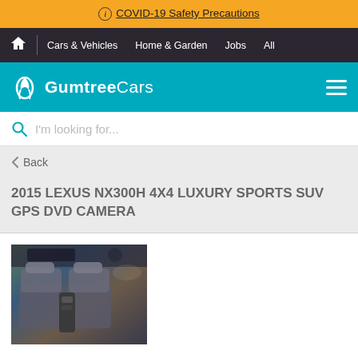ⓘ COVID-19 Safety Precautions
Cars & Vehicles  Home & Garden  Jobs  All
GumtreeCars
I'm looking for...
< Back
2015 LEXUS NX300H 4X4 LUXURY SPORTS SUV GPS DVD CAMERA
[Figure (photo): Interior photo of a Lexus NX300H showing the front seats, centre console and dashboard from the rear seat perspective]